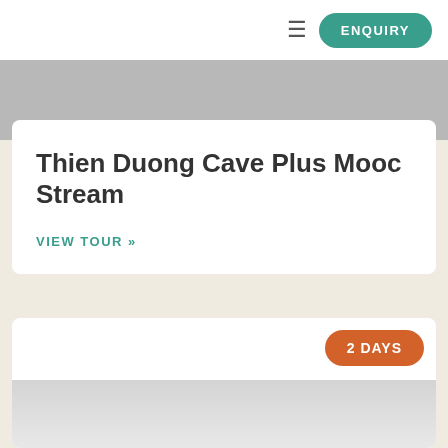≡  ENQUIRY
Thien Duong Cave Plus Mooc Stream
VIEW TOUR »
2 DAYS